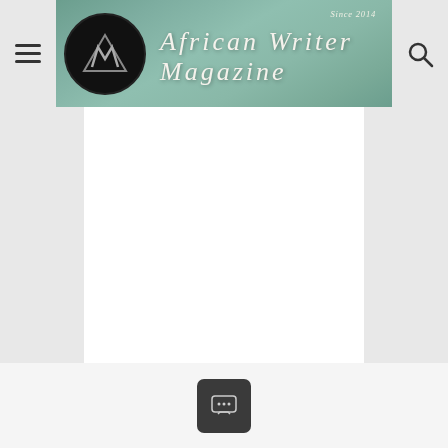[Figure (logo): African Writer Magazine website header banner with circular AW logo on dark background, script lettering 'African Writer Magazine' in white/cream on teal/sage green background, 'Since 2014' text in top right, flanked by hamburger menu icon on left and search icon on right]
[Figure (screenshot): Main content area of website, blank white area below the header banner, with light gray sidebars on left and right]
[Figure (other): Small dark gray square comment/chat button icon centered at bottom of page]